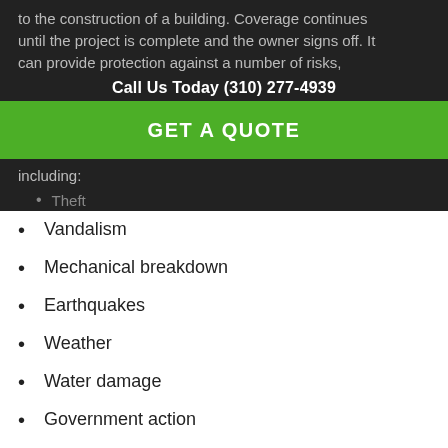to the construction of a building. Coverage continues until the project is complete and the owner signs off. It can provide protection against a number of risks, including:
Call Us Today (310) 277-4939
GET A QUOTE
Theft
Vandalism
Mechanical breakdown
Earthquakes
Weather
Water damage
Government action
Coverage under a builders risk insurance policy may be extended to protect scaffolding and other temporary structures. It may also cover the costs of debris